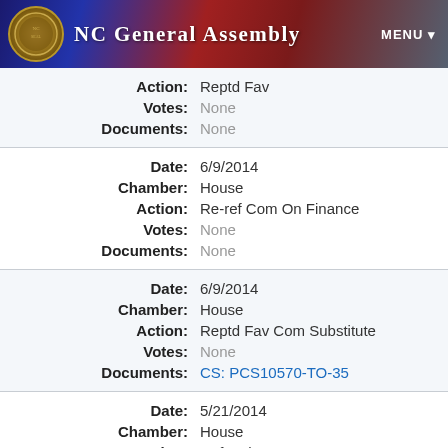NC General Assembly  MENU
| Field | Value |
| --- | --- |
| Action: | Reptd Fav |
| Votes: | None |
| Documents: | None |
| Field | Value |
| --- | --- |
| Date: | 6/9/2014 |
| Chamber: | House |
| Action: | Re-ref Com On Finance |
| Votes: | None |
| Documents: | None |
| Field | Value |
| --- | --- |
| Date: | 6/9/2014 |
| Chamber: | House |
| Action: | Reptd Fav Com Substitute |
| Votes: | None |
| Documents: | CS: PCS10570-TO-35 |
| Field | Value |
| --- | --- |
| Date: | 5/21/2014 |
| Chamber: | House |
| Action: | Ref to the Com on |